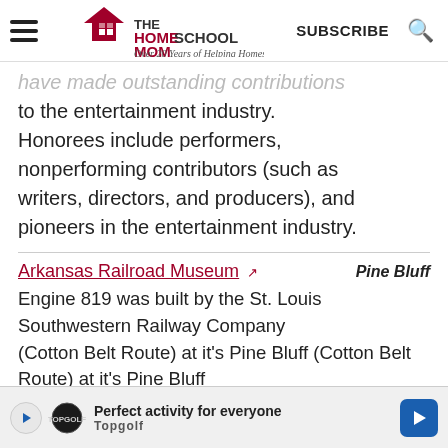THE HOMESCHOOL MOM — Over 20 Years of Helping Homeschoolers! | SUBSCRIBE
have made outstanding contributions to the entertainment industry. Honorees include performers, nonperforming contributors (such as writers, directors, and producers), and pioneers in the entertainment industry.
Arkansas Railroad Museum — Pine Bluff
Engine 819 was built by the St. Louis Southwestern Railway Company (Cotton Belt Route) at it's Pine Bluff
[Figure (other): Advertisement banner: Perfect activity for everyone — Topgolf]